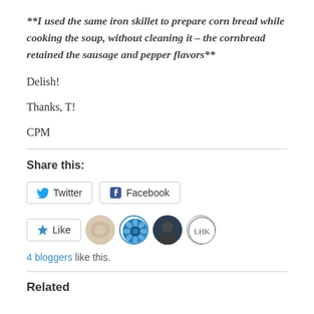**I used the same iron skillet to prepare corn bread while cooking the soup, without cleaning it – the cornbread retained the sausage and pepper flavors**
Delish!
Thanks, T!
CPM
Share this:
[Figure (other): Share buttons: Twitter and Facebook buttons with icons]
[Figure (other): Like button and 4 blogger avatars (photo, blue flower, dark portrait, LHK monogram circle)]
4 bloggers like this.
Related